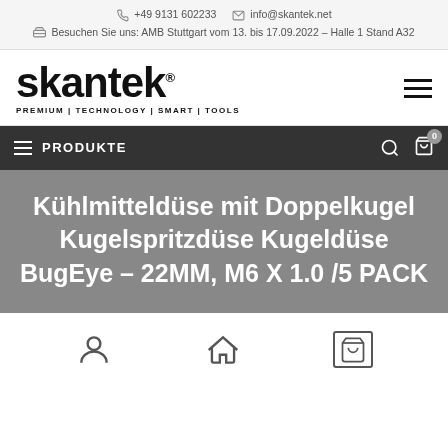+49 9131 602233   info@skantek.net   Besuchen Sie uns: AMB Stuttgart vom 13. bis 17.09.2022 – Halle 1 Stand A32
[Figure (logo): Skantek logo with text 'skantek®' and tagline 'PREMIUM | TECHNOLOGY | SMART | TOOLS']
PRODUKTE
Kühlmitteldüse mit Doppelkugel Kugelspritzdüse Kugeldüse BugEye – 22MM, M6 X 1.0 /5 PACK
Footer icons: user/account, home, cart